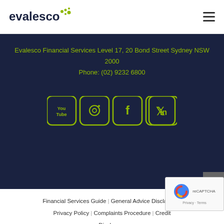[Figure (logo): Evalesco logo with stylized dots in yellow-green]
Evalesco Financial Services Level 17, 20 Bond Street Sydney NSW 2000
Phone: (02) 9232 6800
[Figure (infographic): Social media icons: YouTube, Instagram, Facebook, Twitter, LinkedIn — all in green on dark navy rounded-square backgrounds]
Financial Services Guide | General Advice Disclaimer | Privacy Policy | Complaints Procedure | Credit Disclosure